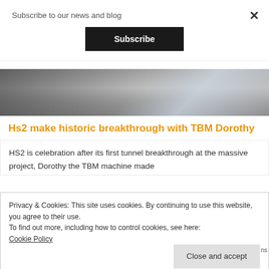Subscribe to our news and blog
Subscribe
[Figure (photo): Black and white photo of tunnel boring machine or construction equipment at the HS2 project site]
Hs2 make historic breakthrough with TBM Dorothy
HS2 is celebration after its first tunnel breakthrough at the massive project, Dorothy the TBM machine made
Privacy & Cookies: This site uses cookies. By continuing to use this website, you agree to their use.
To find out more, including how to control cookies, see here:
Cookie Policy
Close and accept
ns